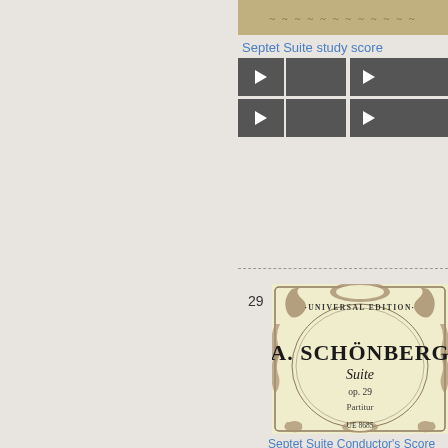[Figure (screenshot): Decorative image bar at top of right panel showing ornate pattern]
Septet Suite study score
[Figure (screenshot): Two rows of audio player controls with play buttons and progress bars]
29
[Figure (illustration): Universal Edition cover for A. Schönberg Suite op. 29 Partitur, UE 8685, with Art Nouveau decorative border design]
Septet Suite Conductor's Score